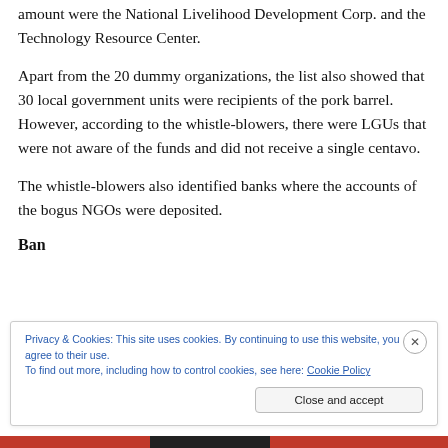amount were the National Livelihood Development Corp. and the Technology Resource Center.
Apart from the 20 dummy organizations, the list also showed that 30 local government units were recipients of the pork barrel. However, according to the whistle-blowers, there were LGUs that were not aware of the funds and did not receive a single centavo.
The whistle-blowers also identified banks where the accounts of the bogus NGOs were deposited.
Ban...
Privacy & Cookies: This site uses cookies. By continuing to use this website, you agree to their use.
To find out more, including how to control cookies, see here: Cookie Policy